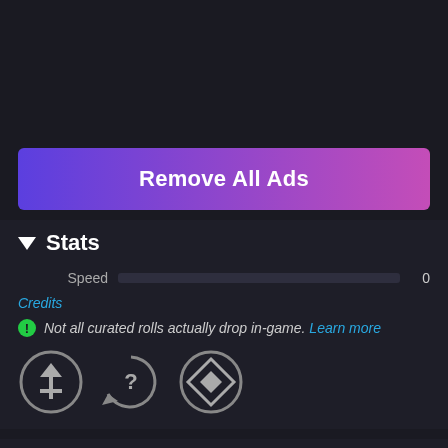[Figure (screenshot): Remove All Ads button with purple-to-pink gradient]
Stats
Speed  0
Credits
Not all curated rolls actually drop in-game. Learn more
[Figure (illustration): Three circular game icons: arrow up/shield icon, question mark refresh icon, diamond-eye icon]
Related Collectible
SEAFOAM SLIDE